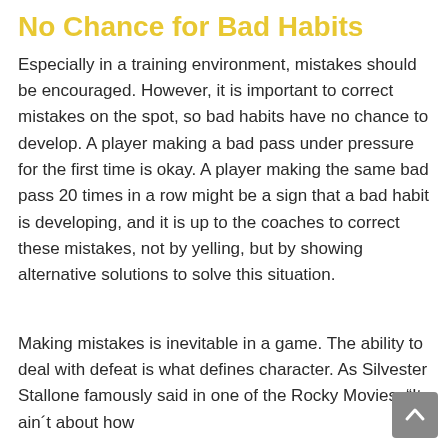No Chance for Bad Habits
Especially in a training environment, mistakes should be encouraged. However, it is important to correct mistakes on the spot, so bad habits have no chance to develop. A player making a bad pass under pressure for the first time is okay. A player making the same bad pass 20 times in a row might be a sign that a bad habit is developing, and it is up to the coaches to correct these mistakes, not by yelling, but by showing alternative solutions to solve this situation.
Making mistakes is inevitable in a game. The ability to deal with defeat is what defines character. As Silvester Stallone famously said in one of the Rocky Movies: “It ain´t about how